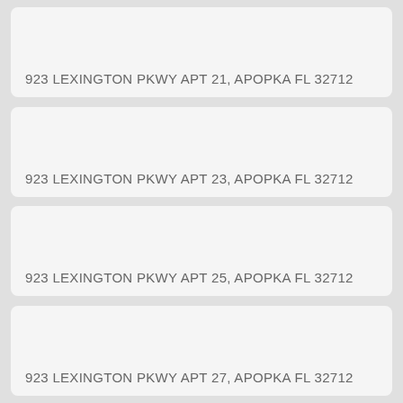923 LEXINGTON PKWY APT 21, APOPKA FL 32712
923 LEXINGTON PKWY APT 23, APOPKA FL 32712
923 LEXINGTON PKWY APT 25, APOPKA FL 32712
923 LEXINGTON PKWY APT 27, APOPKA FL 32712